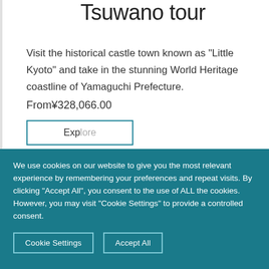Tsuwano tour
Visit the historical castle town known as “Little Kyoto” and take in the stunning World Heritage coastline of Yamaguchi Prefecture.
From¥328,066.00
We use cookies on our website to give you the most relevant experience by remembering your preferences and repeat visits. By clicking “Accept All”, you consent to the use of ALL the cookies. However, you may visit "Cookie Settings" to provide a controlled consent.